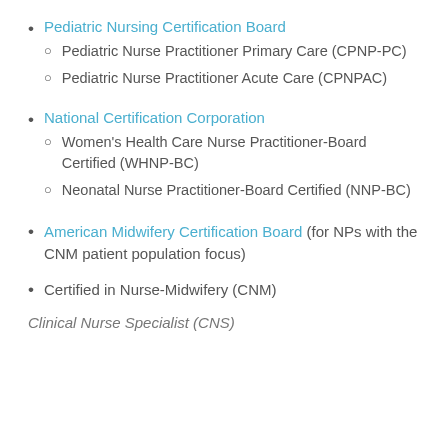Pediatric Nursing Certification Board
Pediatric Nurse Practitioner Primary Care (CPNP-PC)
Pediatric Nurse Practitioner Acute Care (CPNPAC)
National Certification Corporation
Women's Health Care Nurse Practitioner-Board Certified (WHNP-BC)
Neonatal Nurse Practitioner-Board Certified (NNP-BC)
American Midwifery Certification Board (for NPs with the CNM patient population focus)
Certified in Nurse-Midwifery (CNM)
Clinical Nurse Specialist (CNS)